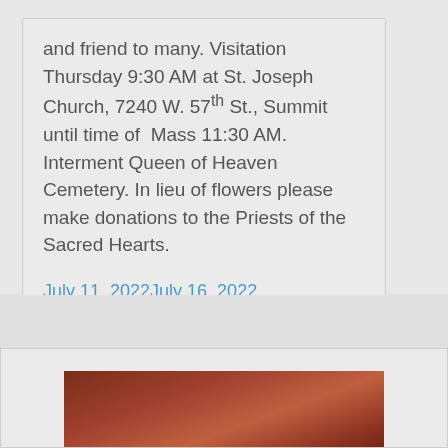and friend to many. Visitation Thursday 9:30 AM at St. Joseph Church, 7240 W. 57th St., Summit until time of Mass 11:30 AM. Interment Queen of Heaven Cemetery. In lieu of flowers please make donations to the Priests of the Sacred Hearts.
July 11, 2022July 16, 2022 Obituaries8 Comments
[Figure (photo): Partial view of a photo showing a brownish-red background, possibly a portrait photograph cropped at the bottom of the page.]